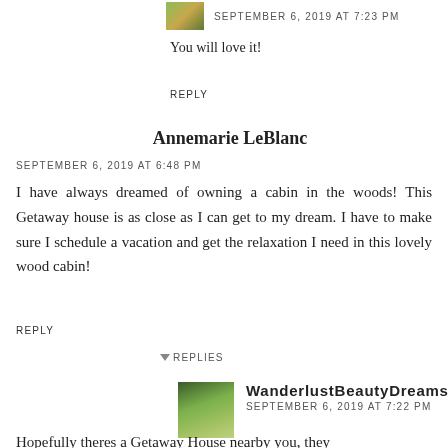SEPTEMBER 6, 2019 AT 7:23 PM
You will love it!
REPLY
Annemarie LeBlanc
SEPTEMBER 6, 2019 AT 6:48 PM
I have always dreamed of owning a cabin in the woods! This Getaway house is as close as I can get to my dream. I have to make sure I schedule a vacation and get the relaxation I need in this lovely wood cabin!
REPLY
REPLIES
WanderlustBeautyDreams
SEPTEMBER 6, 2019 AT 7:22 PM
Hopefully theres a Getaway House nearby you, they